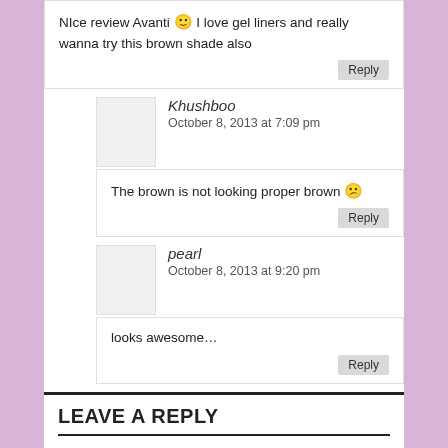NIce review Avanti 🙂 I love gel liners and really wanna try this brown shade also
Reply
Khushboo
October 8, 2013 at 7:09 pm
The brown is not looking proper brown 😕
Reply
pearl
October 8, 2013 at 9:20 pm
looks awesome…
Reply
LEAVE A REPLY
Your email address will not be published. Required fields are marked *